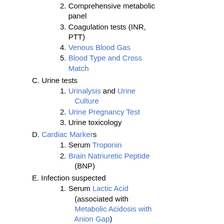2. Comprehensive metabolic panel
3. Coagulation tests (INR, PTT)
4. Venous Blood Gas
5. Blood Type and Cross Match
C. Urine tests
1. Urinalysis and Urine Culture
2. Urine Pregnancy Test
3. Urine toxicology
D. Cardiac Markers
1. Serum Troponin
2. Brain Natriuretic Peptide (BNP)
E. Infection suspected
1. Serum Lactic Acid (associated with Metabolic Acidosis with Anion Gap)
2. Blood Cultures
F. Endocrine labs
1. Thyroid Stimulating Hormone (TSH)
2. Serum Cortisol
XII. Diagnostics